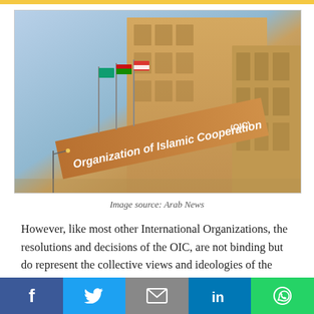[Figure (photo): Photograph of the Organization of Islamic Cooperation (OIC) building exterior, showing the building facade with signage reading 'Organization of Islamic Cooperation (OIC)' and several flags in front, taken from a low angle against a blue sky.]
Image source: Arab News
However, like most other International Organizations, the resolutions and decisions of the OIC, are not binding but do represent the collective views and ideologies of the Islamic world